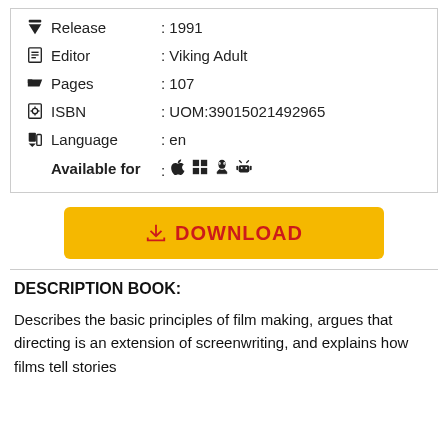| Field | Value |
| --- | --- |
| Release | : 1991 |
| Editor | : Viking Adult |
| Pages | : 107 |
| ISBN | : UOM:39015021492965 |
| Language | : en |
| Available for | : [platform icons] |
[Figure (other): Yellow download button with red text '⬇ DOWNLOAD']
DESCRIPTION BOOK:
Describes the basic principles of film making, argues that directing is an extension of screenwriting, and explains how films tell stories